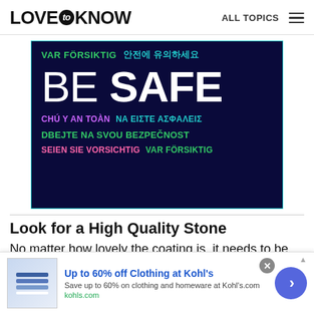LOVE to KNOW   ALL TOPICS
[Figure (other): Dark navy background image with multilingual 'BE SAFE' text in large white letters, surrounded by phrases in multiple languages and colors: 'VAR FÖRSIKTIG' (green), '안전에 유의하세요' (teal), 'BE SAFE' (white, large), 'CHÚ Y AN TOÀN' (purple), 'NA EIΣTE AΣΦAΛEIΣ' (teal), 'DBEJTE NA SVOU BEZPEČNOST' (green), 'SEIEN SIE VORSICHTIG' (pink), 'VAR FÖRSIKTIG' (green). Bordered with teal outline.]
Look for a High Quality Stone
No matter how lovely the coating is, it needs to be applied to a clean stone with a good cut and clarity...
[Figure (infographic): Advertisement banner: 'Up to 60% off Clothing at Kohl's'. Save up to 60% on clothing and homeware at Kohls.com. kohls.com]